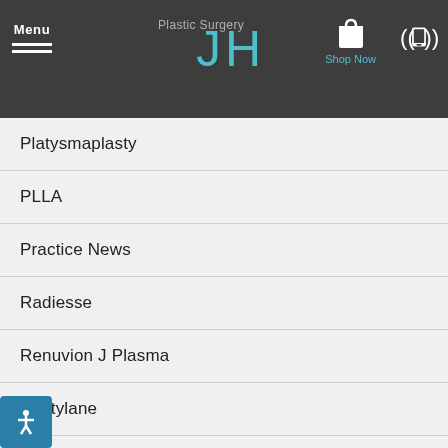Menu | Plastic Surgery | JH | Shop Now
Platysmaplasty
PLLA
Practice News
Radiesse
Renuvion J Plasma
Restylane
Revision Rhinoplasty
Revision Rhinoplasty Specialist
Rhinophyma